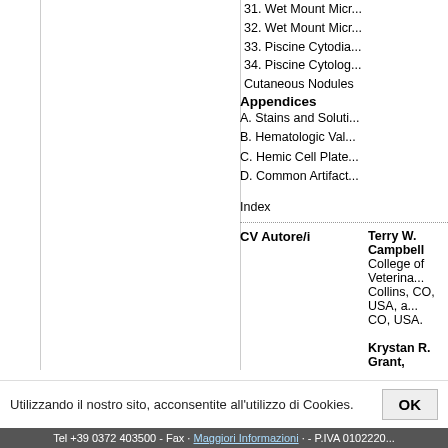31. Wet Mount Micr...
32. Wet Mount Micr...
33. Piscine Cytodia...
34. Piscine Cytolog... Cutaneous Nodules
Appendices
A. Stains and Soluti...
B. Hematologic Val...
C. Hemic Cell Plate...
D. Common Artifact...
Index
CV Autore/i
Terry W. Campbell, College of Veterina... Collins, CO, USA, a... CO, USA.
Krystan R. Grant, ... in Phoenix, AZ, US...
Utilizzando il nostro sito, acconsentite all'utilizzo di Cookies.
Tel +39 0372 403500 - Fax ... - P.IVA 0102220...
Maggiori Informazioni